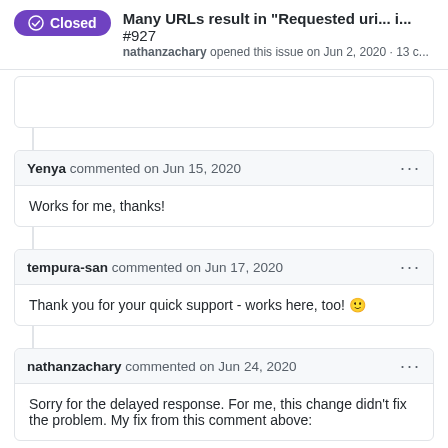Many URLs result in "Requested uri... i... #927 nathanzachary opened this issue on Jun 2, 2020 · 13 c...
Yenya commented on Jun 15, 2020
Works for me, thanks!
tempura-san commented on Jun 17, 2020
Thank you for your quick support - works here, too! 🙂
nathanzachary commented on Jun 24, 2020
Sorry for the delayed response. For me, this change didn't fix the problem. My fix from this comment above: